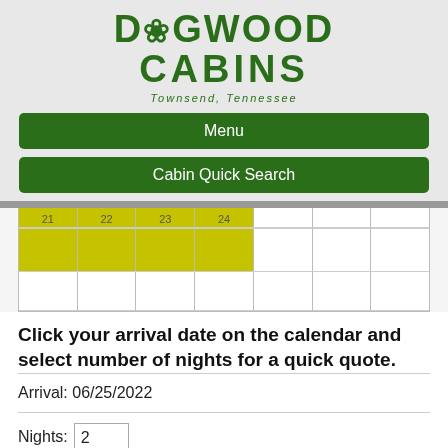[Figure (logo): Dogwood Cabins logo with text 'DOGWOOD CABINS' in dark green and subtitle 'Townsend, Tennessee']
Menu
Cabin Quick Search
[Figure (screenshot): Partial calendar view showing a yellow/olive highlighted row of cells spanning 4 columns, followed by a row of empty grid cells below]
Click your arrival date on the calendar and select number of nights for a quick quote.
Arrival: 06/25/2022
Nights: 2
Departure: 6/27/2022